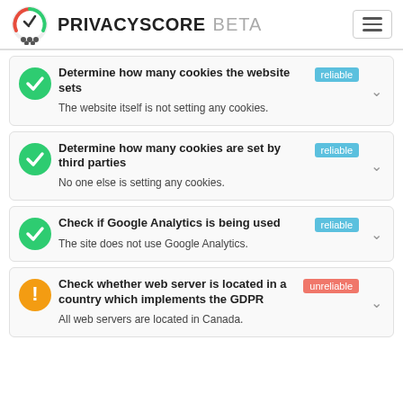PRIVACYSCORE BETA
Determine how many cookies the website sets — reliable
The website itself is not setting any cookies.
Determine how many cookies are set by third parties — reliable
No one else is setting any cookies.
Check if Google Analytics is being used — reliable
The site does not use Google Analytics.
Check whether web server is located in a country which implements the GDPR — unreliable
All web servers are located in Canada.